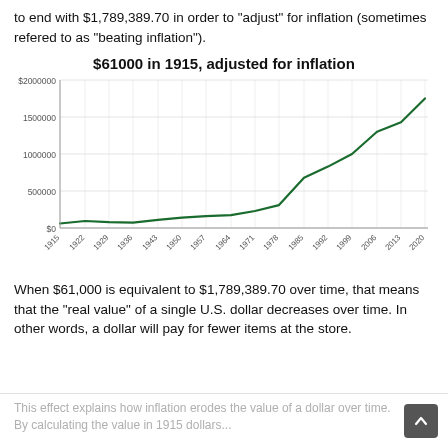to end with $1,789,389.70 in order to "adjust" for inflation (sometimes refered to as "beating inflation").
[Figure (line-chart): $61000 in 1915, adjusted for inflation]
When $61,000 is equivalent to $1,789,389.70 over time, that means that the "real value" of a single U.S. dollar decreases over time. In other words, a dollar will pay for fewer items at the store.
This effect explains how inflation erodes the value of a dollar over time. By calculating the value in 1915 dollars...